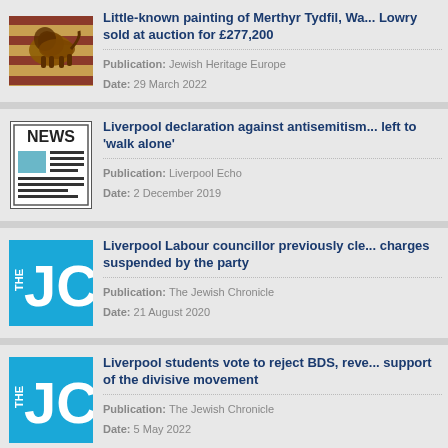Little-known painting of Merthyr Tydfil, Wa... Lowry sold at auction for £277,200 | Publication: Jewish Heritage Europe | Date: 29 March 2022
Liverpool declaration against antisemitism... left to 'walk alone' | Publication: Liverpool Echo | Date: 2 December 2019
Liverpool Labour councillor previously cle... charges suspended by the party | Publication: The Jewish Chronicle | Date: 21 August 2020
Liverpool students vote to reject BDS, reve... support of the divisive movement | Publication: The Jewish Chronicle | Date: 5 May 2022